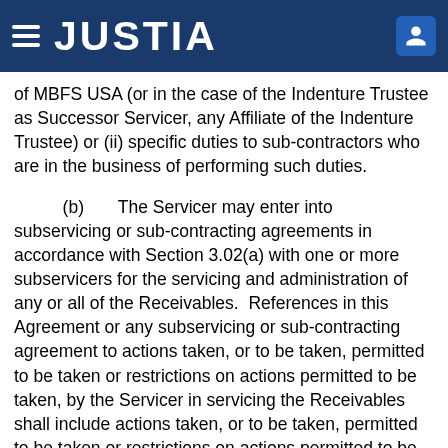JUSTIA
of MBFS USA (or in the case of the Indenture Trustee as Successor Servicer, any Affiliate of the Indenture Trustee) or (ii) specific duties to sub-contractors who are in the business of performing such duties.
(b) The Servicer may enter into subservicing or sub-contracting agreements in accordance with Section 3.02(a) with one or more subservicers for the servicing and administration of any or all of the Receivables. References in this Agreement or any subservicing or sub-contracting agreement to actions taken, or to be taken, permitted to be taken or restrictions on actions permitted to be taken, by the Servicer in servicing the Receivables shall include actions taken, or to be taken, permitted to be taken or restrictions on actions permitted to be taken, by a subservicer on behalf of the Servicer. Each subservicing